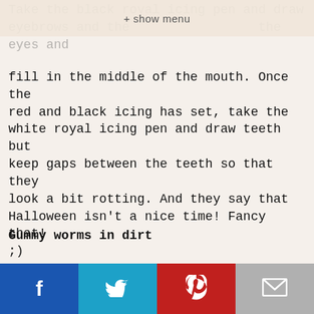+ show menu
Take the black royal icing pen and draw eyebrows and the eyes and fill in the middle of the mouth. Once the red and black icing has set, take the white royal icing pen and draw teeth but keep gaps between the teeth so that they look a bit rotting. And they say that Halloween isn't a nice time! Fancy that! ;)
Gummy worms in dirt